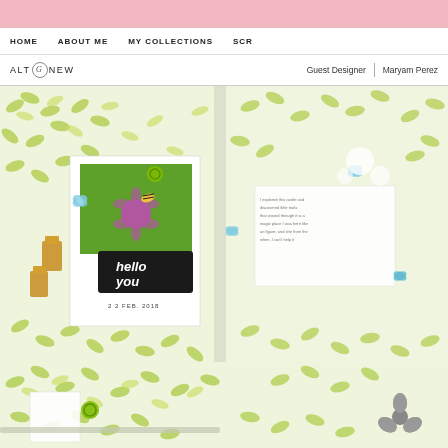HOME   ABOUT ME   MY COLLECTIONS   SCR
ALTENEW   Guest Designer | Maryam Perez
[Figure (photo): A crafting scrapbook opened flat showing green leafy patterned pages with a photo of a bee on a purple flower, a 'hello you' black chipboard title, date stamp '22 FEB. 2018', butterfly embellishments, gold binder clips on the left, and a journaling card on the right page.]
[Figure (photo): Partial view of a second scrapbook page with similar green leafy background pattern, green circle embellishment, a pen, and a grey flower die-cut partially visible at right edge.]